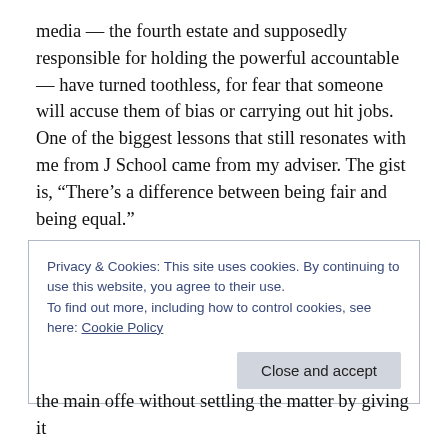media — the fourth estate and supposedly responsible for holding the powerful accountable — have turned toothless, for fear that someone will accuse them of bias or carrying out hit jobs. One of the biggest lessons that still resonates with me from J School came from my adviser. The gist is, “There’s a difference between being fair and being equal.”
There might be a segment on a news program called, “The Earth: Round or Flat?” In a fair model, a person who believes the earth is flat would never be given a platform
Privacy & Cookies: This site uses cookies. By continuing to use this website, you agree to their use.
To find out more, including how to control cookies, see here: Cookie Policy
the main offe without settling the matter by giving it